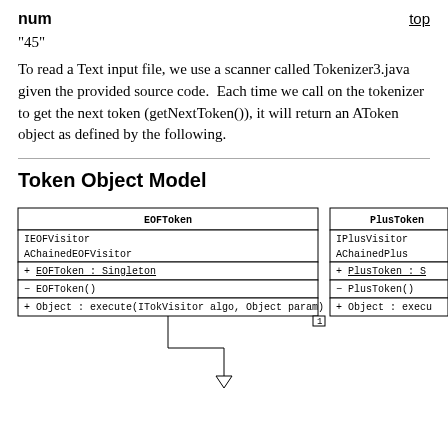num    top
"45"
To read a Text input file, we use a scanner called Tokenizer3.java given the provided source code.  Each time we call on the tokenizer to get the next token (getNextToken()), it will return an AToken object as defined by the following.
Token Object Model
[Figure (engineering-diagram): UML class diagram showing EOFToken class box with attributes IEOFVisitor, AChainedEOFVisitor and methods + EOFToken : Singleton, - EOFToken(), + Object : execute(ITokVisitor algo, Object param); and a partially visible second class box for PlusToken with IPlusVisitor, AChainedPlusVisitor, + PlusToken : S..., - PlusToken(), + Object : execu.... Arrows connect downward from boxes with a '1' multiplicity label.]